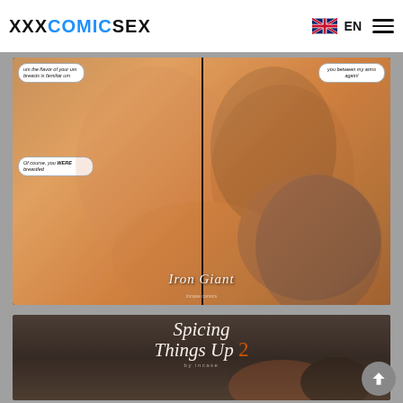XXXCOMICSEX  EN
[Figure (illustration): Comic panel titled 'Iron Giant' showing animated adult cartoon characters in an intimate scene with speech bubbles. Two-panel layout with a divider line down the middle.]
[Figure (illustration): Comic cover titled 'Spicing Things Up 2 by Incase' showing two animated adult cartoon characters, one redhead female and one dark-haired male, in a close romantic pose against a dark background.]